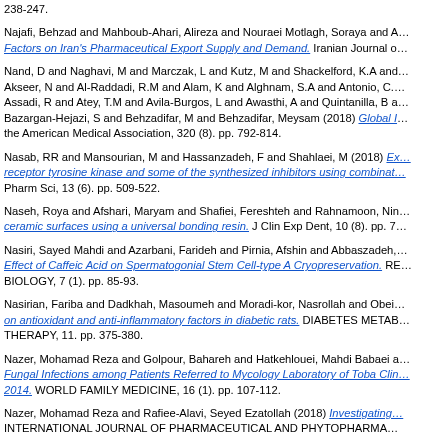238-247.
Najafi, Behzad and Mahboub-Ahari, Alireza and Nouraei Motlagh, Soraya and A... Factors on Iran's Pharmaceutical Export Supply and Demand. Iranian Journal o...
Nand, D and Naghavi, M and Marczak, L and Kutz, M and Shackelford, K.A and... Akseer, N and Al-Raddadi, R.M and Alam, K and Alghnam, S.A and Antonio, C.... Assadi, R and Atey, T.M and Avila-Burgos, L and Awasthi, A and Quintanilla, B a... Bazargan-Hejazi, S and Behzadifar, M and Behzadifar, Meysam (2018) Global... the American Medical Association, 320 (8). pp. 792-814.
Nasab, RR and Mansourian, M and Hassanzadeh, F and Shahlaei, M (2018) Ex... receptor tyrosine kinase and some of the synthesized inhibitors using combinat... Pharm Sci, 13 (6). pp. 509-522.
Naseh, Roya and Afshari, Maryam and Shafiei, Fereshteh and Rahnamoon, Nin... ceramic surfaces using a universal bonding resin. J Clin Exp Dent, 10 (8). pp. 7...
Nasiri, Sayed Mahdi and Azarbani, Farideh and Pirnia, Afshin and Abbaszadeh,... Effect of Caffeic Acid on Spermatogonial Stem Cell-type A Cryopreservation. RE... BIOLOGY, 7 (1). pp. 85-93.
Nasirian, Fariba and Dadkhah, Masoumeh and Moradi-kor, Nasrollah and Obei... on antioxidant and anti-inflammatory factors in diabetic rats. DIABETES METAB... THERAPY, 11. pp. 375-380.
Nazer, Mohamad Reza and Golpour, Bahareh and Hatkehlouei, Mahdi Babaei a... Fungal Infections among Patients Referred to Mycology Laboratory of Toba Clin... 2014. WORLD FAMILY MEDICINE, 16 (1). pp. 107-112.
Nazer, Mohamad Reza and Rafiee-Alavi, Seyed Ezatollah (2018) Investigating... INTERNATIONAL JOURNAL OF PHARMACEUTICAL AND PHYTOPHARMA...